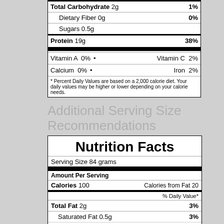| Total Carbohydrate 2g | 1% |
| Dietary Fiber 0g | 0% |
| Sugars 0.5g |  |
| Protein 19g | 38% |
| Vitamin A  0% | Vitamin C  2% |
| Calcium  0% | Iron  2% |
* Percent Daily Values are based on a 2,000 calorie diet. Your daily values may be higher or lower depending on your calorie needs.
Additional Serving Size Recommendations
Nutrition Facts
| Serving Size 84 grams |  |
| Amount Per Serving |  |
| Calories 100 | Calories from Fat 20 |
| % Daily Value* |  |
| Total Fat 2g | 3% |
| Saturated Fat 0.5g | 3% |
| Trans Fat 0g |  |
| Cholesterol 55mg | 18% |
| Sodium 410mg | 17% |
| Potassium 0mg | 0% |